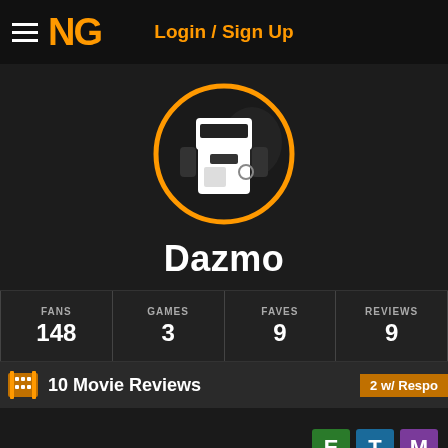NG  Login / Sign Up
[Figure (illustration): Circular avatar with orange border showing a white robot/character with visor on dark background — Newgrounds user avatar for Dazmo]
Dazmo
| FANS | GAMES | FAVES | REVIEWS |
| --- | --- | --- | --- |
| 148 | 3 | 9 | 9 |
10 Movie Reviews  2 w/ Respo
[Figure (screenshot): Content area showing three rating badges: E (green), T (blue), M (purple)]
[Figure (photo): Partial thumbnail image at bottom left of page]